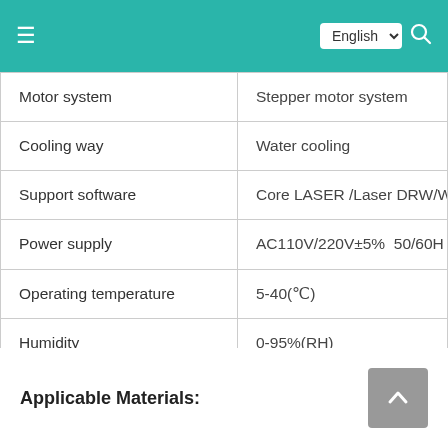English (navigation header with hamburger menu and search icon)
| Property | Value |
| --- | --- |
| Motor system | Stepper motor system |
| Cooling way | Water cooling |
| Support software | Core LASER /Laser DRW/W... |
| Power supply | AC110V/220V±5%  50/60H... |
| Operating temperature | 5-40(℃) |
| Humidity | 0-95%(RH) |
| Lighting system | LED light with high-bright... |
Applicable Materials: